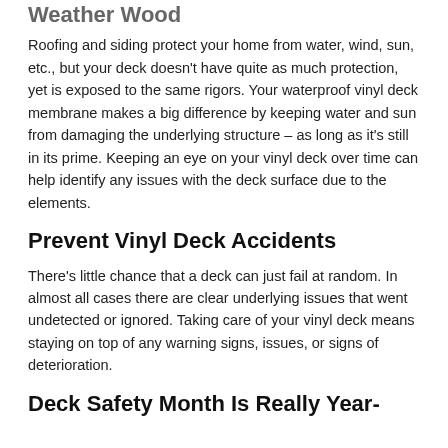Weather Wood
Roofing and siding protect your home from water, wind, sun, etc., but your deck doesn't have quite as much protection, yet is exposed to the same rigors. Your waterproof vinyl deck membrane makes a big difference by keeping water and sun from damaging the underlying structure – as long as it's still in its prime. Keeping an eye on your vinyl deck over time can help identify any issues with the deck surface due to the elements.
Prevent Vinyl Deck Accidents
There's little chance that a deck can just fail at random. In almost all cases there are clear underlying issues that went undetected or ignored. Taking care of your vinyl deck means staying on top of any warning signs, issues, or signs of deterioration.
Deck Safety Month Is Really Year-